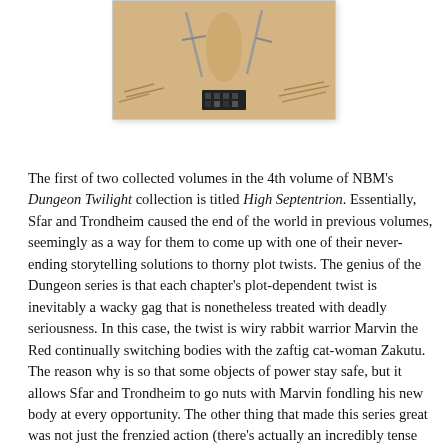[Figure (illustration): Partial comic book cover illustration showing swords/weapons and a dark rectangular element at the bottom center, on a tan/sandy background. Top portion of a Dungeon Twilight volume cover.]
The first of two collected volumes in the 4th volume of NBM's Dungeon Twilight collection is titled High Septentrion. Essentially, Sfar and Trondheim caused the end of the world in previous volumes, seemingly as a way for them to come up with one of their never-ending storytelling solutions to thorny plot twists. The genius of the Dungeon series is that each chapter's plot-dependent twist is inevitably a wacky gag that is nonetheless treated with deadly seriousness. In this case, the twist is wiry rabbit warrior Marvin the Red continually switching bodies with the zaftig cat-woman Zakutu. The reason why is so that some objects of power stay safe, but it allows Sfar and Trondheim to go nuts with Marvin fondling his new body at every opportunity. The other thing that made this series great was not just the frenzied action (there's actually an incredibly tense climax in this book) or the wacky gags, but the way Sfar & Trondheim